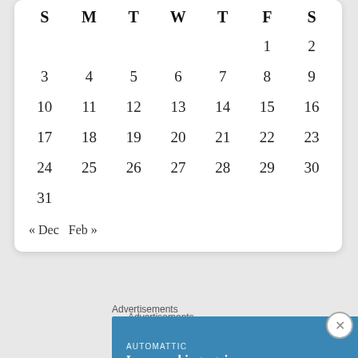| S | M | T | W | T | F | S |
| --- | --- | --- | --- | --- | --- | --- |
|  |  |  |  |  | 1 | 2 |
| 3 | 4 | 5 | 6 | 7 | 8 | 9 |
| 10 | 11 | 12 | 13 | 14 | 15 | 16 |
| 17 | 18 | 19 | 20 | 21 | 22 | 23 |
| 24 | 25 | 26 | 27 | 28 | 29 | 30 |
| 31 |  |  |  |  |  |  |
« Dec  Feb »
Advertisements
Advertisements
AUTOMATTIC
Love working again.